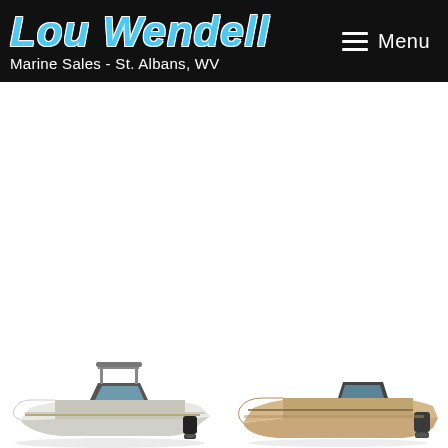Lou Wendell Marine Sales - St. Albans, WV | Menu
[Figure (photo): Two boats on white background: left is a sleek gray/white motorboat with tower and outboard engine, right is a tan/cream flat-bottomed fishing boat with outboard engine. Both shown in side profile at the bottom of the page.]